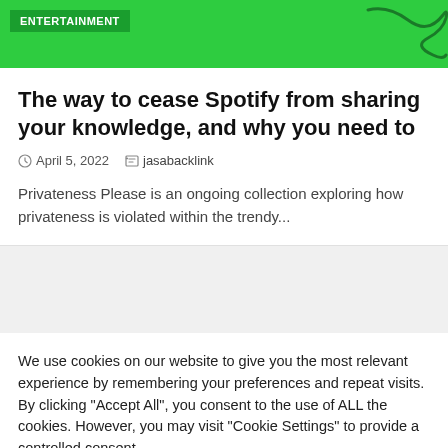ENTERTAINMENT
The way to cease Spotify from sharing your knowledge, and why you need to
April 5, 2022  jasabacklink
Privateness Please is an ongoing collection exploring how privateness is violated within the trendy...
We use cookies on our website to give you the most relevant experience by remembering your preferences and repeat visits. By clicking “Accept All”, you consent to the use of ALL the cookies. However, you may visit "Cookie Settings" to provide a controlled consent.